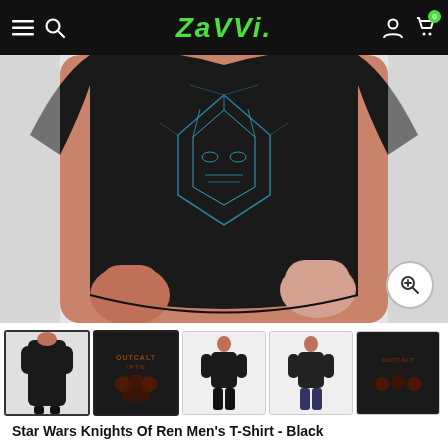Zavvi - navigation bar with hamburger, search, logo, user, cart (0)
[Figure (photo): Man wearing a black Star Wars Knights of Ren t-shirt, holding the hem of the shirt outward. The shirt features a blue geometric design of a helmeted figure. A zoom icon is visible in the bottom-right of the image.]
[Figure (photo): Thumbnail strip showing 5 product photos: front of shirt on model, close-up of shirt graphic, full-body front shot, full-body back shot, and partial front shot.]
Star Wars Knights Of Ren Men's T-Shirt - Black